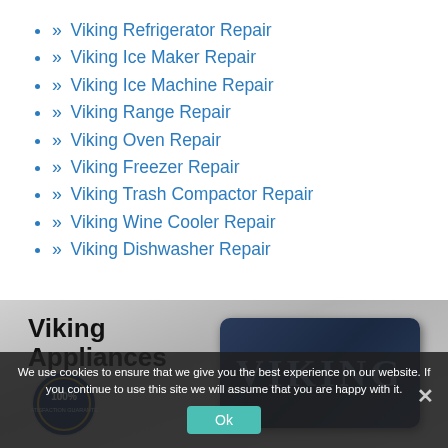» Viking Refrigerator Repair
» Viking Ice Maker Repair
» Viking Ice Machine Repair
» Viking Range Repair
» Viking Oven Repair
» Viking Freezer Repair
» Viking Trash Compactor Repair
» Viking Wine Cooler Repair
» Viking Dishwasher Repair
[Figure (photo): Viking Appliances banner image with logo badge and Viking brand logo on dark blue plaque]
We use cookies to ensure that we give you the best experience on our website. If you continue to use this site we will assume that you are happy with it.